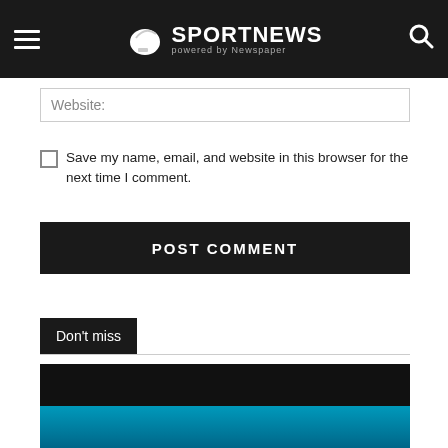SPORTNEWS powered by Newspaper
Website:
Save my name, email, and website in this browser for the next time I comment.
POST COMMENT
Don't miss
[Figure (photo): Dark background image with teal/blue gradient at bottom, partially visible]